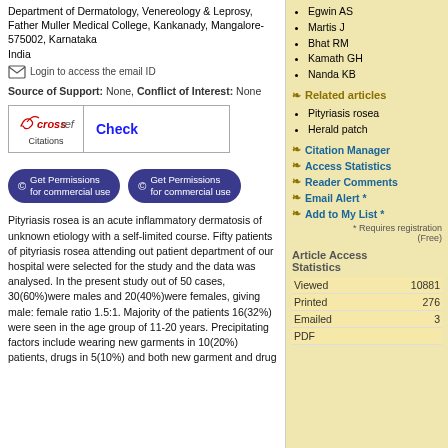Department of Dermatology, Venereology & Leprosy, Father Muller Medical College, Kankanady, Mangalore-575002, Karnataka
India
[Figure (other): Login to access the email ID icon and text]
Source of Support: None, Conflict of Interest: None
[Figure (other): CrossRef Citations Check box with logo and Check button]
[Figure (other): Two 'Get Permissions for commercial use' buttons]
Pityriasis rosea is an acute inflammatory dermatosis of unknown etiology with a self-limited course. Fifty patients of pityriasis rosea attending out patient department of our hospital were selected for the study and the data was analysed. In the present study out of 50 cases, 30(60%)were males and 20(40%)were females, giving male: female ratio 1.5:1. Majority of the patients 16(32%) were seen in the age group of 11-20 years. Precipitating factors include wearing new garments in 10(20%) patients, drugs in 5(10%) and both new garment and drug
Egwin AS
Martis J
Bhat RM
Kamath GH
Nanda KB
Related articles
Pityriasis rosea
Herald patch
Citation Manager
Access Statistics
Reader Comments
Email Alert *
Add to My List *
* Requires registration (Free)
Article Access Statistics
|  |  |
| --- | --- |
| Viewed | 10881 |
| Printed | 276 |
| Emailed | 3 |
| PDF |  |